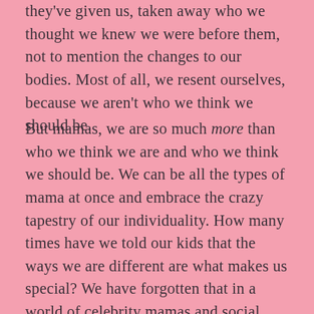they've given us, taken away who we thought we knew we were before them, not to mention the changes to our bodies. Most of all, we resent ourselves, because we aren't who we think we should be.
But mamas, we are so much more than who we think we are and who we think we should be. We can be all the types of mama at once and embrace the crazy tapestry of our individuality. How many times have we told our kids that the ways we are different are what makes us special? We have forgotten that in a world of celebrity mamas and social media feeds that only show us the highlights of each other's lives. We have lost sight of the fact that God made each of us perfectly imperfect, gifted supernaturally, loved beyond measure. I'm challenging myself, even as I challenge you, to abandon the comparisons, the